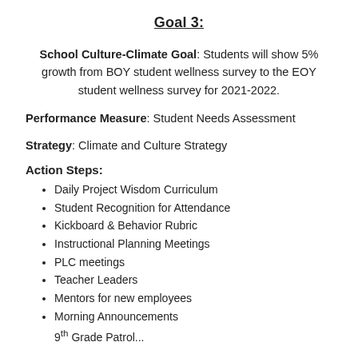Goal 3:
School Culture-Climate Goal: Students will show 5% growth from BOY student wellness survey to the EOY student wellness survey for 2021-2022.
Performance Measure: Student Needs Assessment
Strategy: Climate and Culture Strategy
Action Steps:
Daily Project Wisdom Curriculum
Student Recognition for Attendance
Kickboard & Behavior Rubric
Instructional Planning Meetings
PLC meetings
Teacher Leaders
Mentors for new employees
Morning Announcements
9th Grade Patrol...